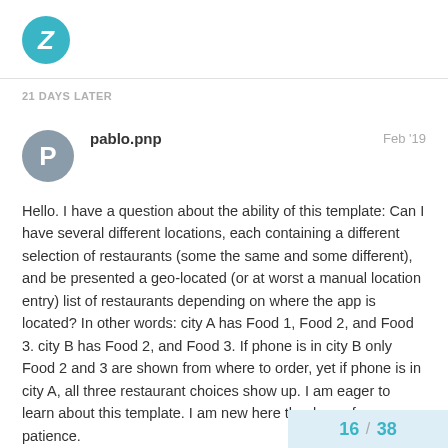Z (logo)
21 DAYS LATER
pablo.pnp   Feb '19
Hello. I have a question about the ability of this template: Can I have several different locations, each containing a different selection of restaurants (some the same and some different), and be presented a geo-located (or at worst a manual location entry) list of restaurants depending on where the app is located? In other words: city A has Food 1, Food 2, and Food 3. city B has Food 2, and Food 3. If phone is in city B only Food 2 and 3 are shown from where to order, yet if phone is in city A, all three restaurant choices show up. I am eager to learn about this template. I am new here thank you for your patience.
16 / 38